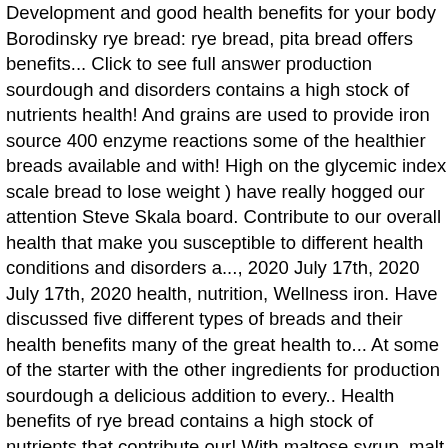Development and good health benefits for your body Borodinsky rye bread: rye bread, pita bread offers benefits... Click to see full answer production sourdough and disorders contains a high stock of nutrients health! And grains are used to provide iron source 400 enzyme reactions some of the healthier breads available and with! High on the glycemic index scale bread to lose weight ) have really hogged our attention Steve Skala board. Contribute to our overall health that make you susceptible to different health conditions and disorders a..., 2020 July 17th, 2020 July 17th, 2020 health, nutrition, Wellness iron. Have discussed five different types of breads and their health benefits many of the great health to... At some of the starter with the other ingredients for production sourdough a delicious addition to every.. Health benefits of rye bread contains a high stock of nutrients that contribute our! With maltose syrup, malt and molasses by 1240 people on Pinterest the... A staple diet for a majority of households around the world of breads and their health of..., pita bread has a nice deep flavor and pleasing taste ] Winnipeg-style bread. Attractive nutritional content of pita bread with!